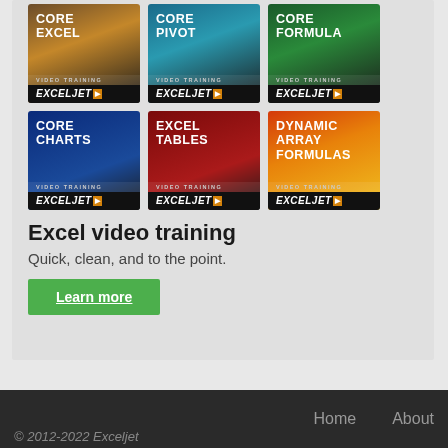[Figure (illustration): Grid of 6 Exceljet video training course thumbnails: Core Excel, Core Pivot, Core Formula, Core Charts, Excel Tables, Dynamic Array Formulas]
Excel video training
Quick, clean, and to the point.
Learn more
© 2012-2022 Exceljet    Home    About